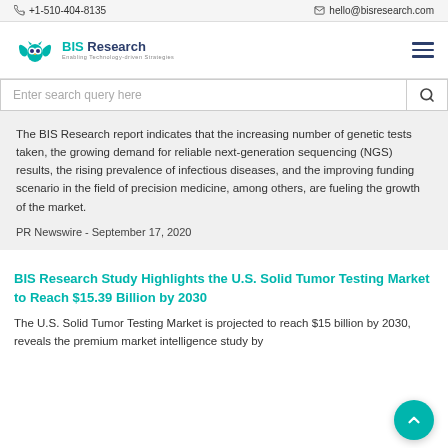+1-510-404-8135   hello@bisresearch.com
[Figure (logo): BIS Research logo with teal owl/wings icon and company name]
Enter search query here
The BIS Research report indicates that the increasing number of genetic tests taken, the growing demand for reliable next-generation sequencing (NGS) results, the rising prevalence of infectious diseases, and the improving funding scenario in the field of precision medicine, among others, are fueling the growth of the market.
PR Newswire - September 17, 2020
BIS Research Study Highlights the U.S. Solid Tumor Testing Market to Reach $15.39 Billion by 2030
The U.S. Solid Tumor Testing Market is projected to reach $15 billion by 2030, reveals the premium market intelligence study by